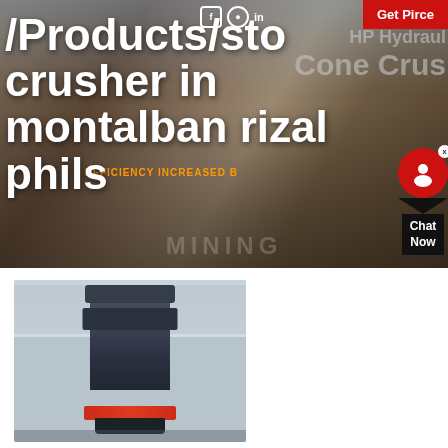[Figure (photo): Industrial stone crusher facility with machinery and conveyors, outdoor quarry/mining site background. Overlays include navigation icons (Facebook, Instagram, LinkedIn), a red 'Get Pirce' button, overlaid text '/Products/sto...' and 'crusher in montalban rizal phils', a partially visible 'HP Hydraulic Cone Crus...' watermark text in grey, an 'EFFICIENCY INCREASED B...' orange text bar, and a red chat widget with 'Chat Now' label on the right side.]
/Products/sto/...crusher in montalban rizal phils
[Figure (photo): Close-up photograph of a large industrial cone/vertical shaft impact crusher machine inside a factory/warehouse with steel roof structure visible. Machine is dark grey/black with a red/orange accent band near the base.]